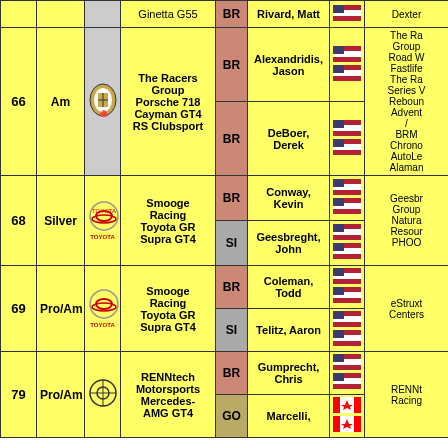| # | Class | Logo | Car | Cls | Driver | Flag | Sponsor |
| --- | --- | --- | --- | --- | --- | --- | --- |
|  |  |  | Ginetta G55 | BR | Rivard, Matt | USA | Dexter |
| 66 | Am | Porsche | The Racers Group Porsche 718 Cayman GT4 RS Clubsport | BR | Alexandridis, Jason | USA | The Ra Group Road W Fastlife The Ra Series V Reboun Advent / BRM Chrono AutoLe Alaman |
| 66 | Am | Porsche | The Racers Group Porsche 718 Cayman GT4 RS Clubsport | BR | DeBoer, Derek | USA |  |
| 68 | Silver | Toyota | Smooge Racing Toyota GR Supra GT4 | BR | Conway, Kevin | USA | Geesbr Group Natura Resour PHOO |
| 68 | Silver | Toyota | Smooge Racing Toyota GR Supra GT4 | SI | Geesbreght, John | USA |  |
| 69 | Pro/Am | Toyota | Smooge Racing Toyota GR Supra GT4 | BR | Coleman, Todd | USA | eStruxt Centers |
| 69 | Pro/Am | Toyota | Smooge Racing Toyota GR Supra GT4 | SI | Telitz, Aaron | USA |  |
| 79 | Pro/Am | Mercedes | RENNtech Motorsports Mercedes-AMG GT4 | BR | Gumprecht, Chris | USA | RENNt Racing |
| 79 | Pro/Am | Mercedes | RENNtech Motorsports Mercedes-AMG GT4 | GO | Marcelli, | CAN |  |